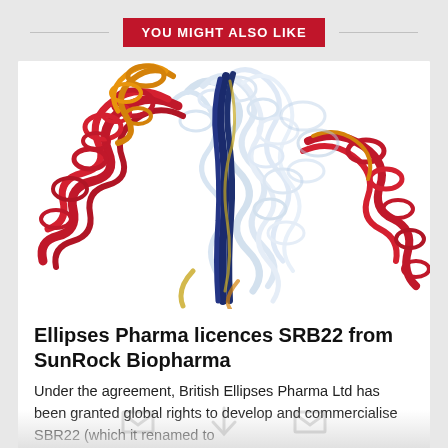YOU MIGHT ALSO LIKE
[Figure (illustration): Scientific 3D illustration of protein/antibody molecular structure with ribbon-style depictions in red, blue, yellow, and light blue colors on a white background.]
Ellipses Pharma licences SRB22 from SunRock Biopharma
Under the agreement, British Ellipses Pharma Ltd has been granted global rights to develop and commercialise SBR22 (which it renamed to